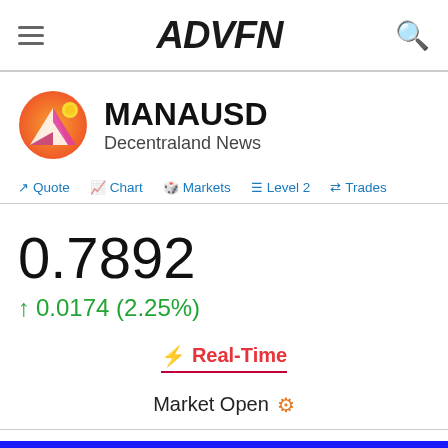ADVFN
MANAUSD — Decentraland News
Quote | Chart | Markets | Level 2 | Trades
0.7892
↑ 0.0174 (2.25%)
⚡ Real-Time
Market Open ⚙